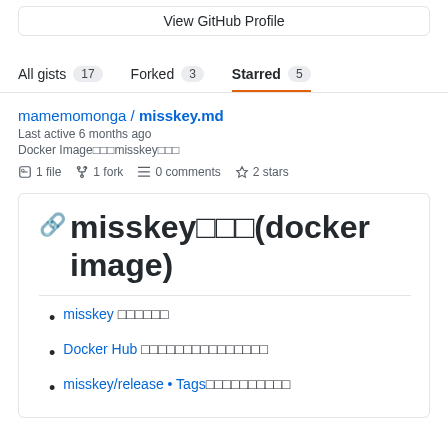View GitHub Profile
All gists 17
Forked 3
Starred 5
mamemomonga / misskey.md
Last active 6 months ago
Docker Image□□□misskey□□□
1 file  1 fork  0 comments  2 stars
misskey□□□(docker image)
misskey □□□□□□
Docker Hub □□□□□□□□□□□□□□□
misskey/release • Tags□□□□□□□□□□